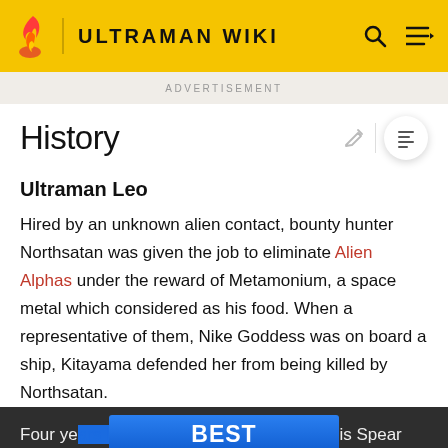ULTRAMAN WIKI
ADVERTISEMENT
History
Ultraman Leo
Hired by an unknown alien contact, bounty hunter Northsatan was given the job to eliminate Alien Alphas under the reward of Metamonium, a space metal which considered as his food. When a representative of them, Nike Goddess was on board a ship, Kitayama defended her from being killed by Northsatan.
Four ye... arriving... his Spear Beam, then chased after a human who awaited
[Figure (other): Best Buy advertisement banner overlay on page content]